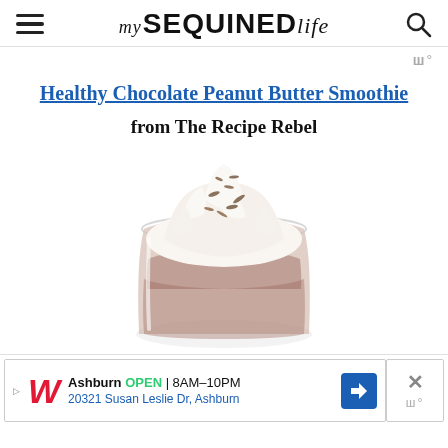my SEQUINED life
Wt°
Healthy Chocolate Peanut Butter Smoothie
from The Recipe Rebel
[Figure (photo): A glass with chocolate peanut butter smoothie topped with whipped cream and chocolate shavings, on a white background.]
Ashburn  OPEN | 8AM–10PM  20321 Susan Leslie Dr, Ashburn